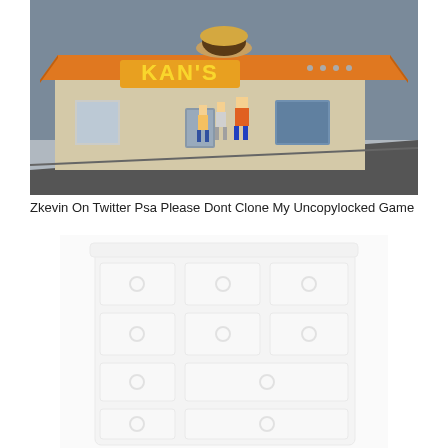[Figure (screenshot): A Roblox game screenshot showing a fast food restaurant building with an orange roof and a sign reading 'KAN'S' in glowing yellow letters. A large burger model sits on top of the roof. Several Roblox character figures stand near the entrance.]
Zkevin On Twitter Psa Please Dont Clone My Uncopylocked Game
[Figure (photo): A white dresser/chest of drawers with multiple drawers, each featuring circular drawer pulls. The image has a very light, washed-out white appearance. The dresser is shown from a slightly elevated angle and is partially cropped at the bottom.]